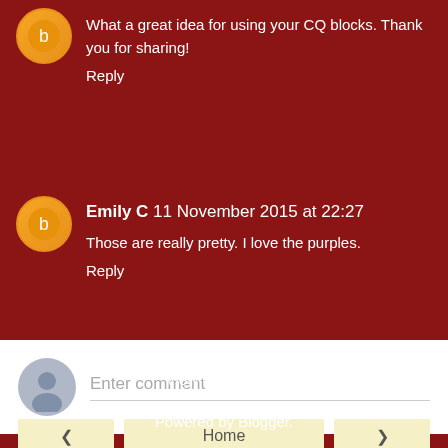What a great idea for using your CQ blocks. Thank you for sharing!
Reply
Emily C 11 November 2015 at 22:27
Those are really pretty. I love the purples.
Reply
Enter comment
Home
View web version
Powered by Blogger.